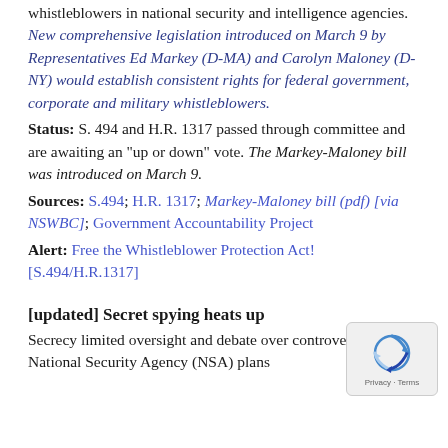whistleblowers in national security and intelligence agencies. New comprehensive legislation introduced on March 9 by Representatives Ed Markey (D-MA) and Carolyn Maloney (D-NY) would establish consistent rights for federal government, corporate and military whistleblowers.
Status: S. 494 and H.R. 1317 passed through committee and are awaiting an "up or down" vote. The Markey-Maloney bill was introduced on March 9.
Sources: S.494; H.R. 1317; Markey-Maloney bill (pdf) [via NSWBC]; Government Accountability Project
Alert: Free the Whistleblower Protection Act! [S.494/H.R.1317]
[updated] Secret spying heats up
Secrecy limited oversight and debate over controversial National Security Agency (NSA) plans